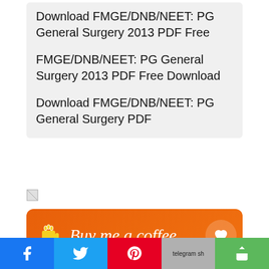Download FMGE/DNB/NEET: PG General Surgery 2013 PDF Free
FMGE/DNB/NEET: PG General Surgery 2013 PDF Free Download
Download FMGE/DNB/NEET: PG General Surgery PDF
[Figure (other): Buy me a coffee orange banner with coffee cup icon and heart button]
[Figure (other): Social share bar with Facebook, Twitter, Pinterest, Telegram, and share buttons]